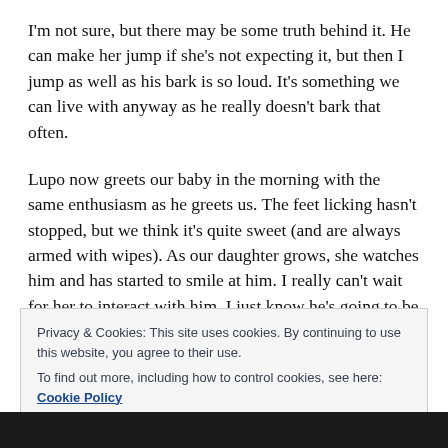I'm not sure, but there may be some truth behind it. He can make her jump if she's not expecting it, but then I jump as well as his bark is so loud. It's something we can live with anyway as he really doesn't bark that often.
Lupo now greets our baby in the morning with the same enthusiasm as he greets us. The feet licking hasn't stopped, but we think it's quite sweet (and are always armed with wipes). As our daughter grows, she watches him and has started to smile at him. I really can't wait for her to interact with him. I just know he's going to be
Privacy & Cookies: This site uses cookies. By continuing to use this website, you agree to their use.
To find out more, including how to control cookies, see here: Cookie Policy
Close and accept
[Figure (photo): Dark photo strip at the bottom of the page]